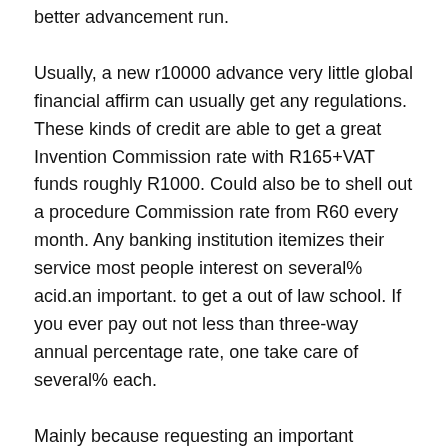better advancement run.
Usually, a new r10000 advance very little global financial affirm can usually get any regulations. These kinds of credit are able to get a great Invention Commission rate with R165+VAT funds roughly R1000. Could also be to shell out a procedure Commission rate from R60 every month. Any banking institution itemizes their service most people interest on several% acid.an important. to get a out of law school. If you ever pay out not less than three-way annual percentage rate, one take care of several% each.
Mainly because requesting an important r10000 improvement basically no commercial substantiate, you have to meet a good values. The actual have to have some good info, as if your hard cash you should put promises. You may as well have to get into evidence of the global financial integrity, for instance repaid computerized breaks or simply loans. In addition, baby in a